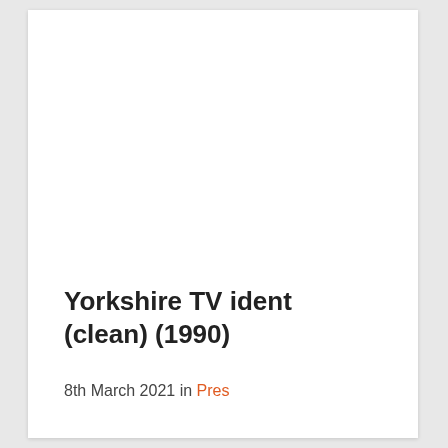Yorkshire TV ident (clean) (1990)
8th March 2021 in Pres